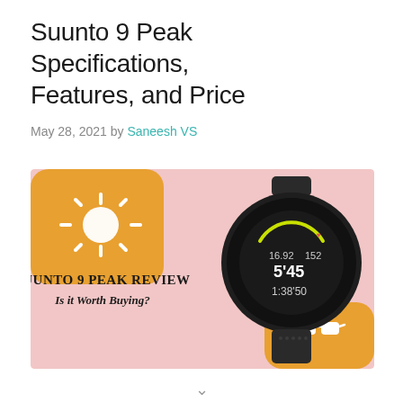Suunto 9 Peak Specifications, Features, and Price
May 28, 2021 by Saneesh VS
[Figure (illustration): Promotional banner for Suunto 9 Peak Review article. Pink background with an orange rounded-square in the top-left showing a white sun icon. Text reads 'SUUNTO 9 PEAK REVIEW Is it Worth Buying?' in bold black serif font. On the right side, a dark Suunto 9 Peak smartwatch showing the display with metrics: 16.92, 152, 5'45, 1:38'50. Orange rounded-square in bottom-right with white sunglasses icon.]